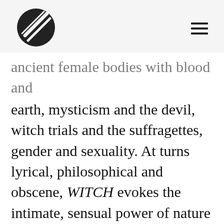[Logo icon] [Hamburger menu]
ancient female bodies with blood and earth, mysticism and the devil, witch trials and the suffragettes, gender and sexuality. At turns lyrical, philosophical and obscene, WITCH evokes the intimate, sensual power of nature and merges it with the revolutionary potential of women's voices. These are poems as spells — spells against suppression, silences and oblivion — poems that dismiss